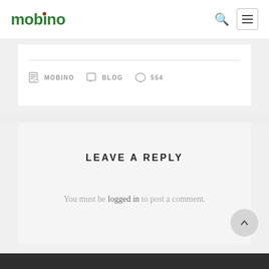mobino
MOBINO   BLOG   554
LEAVE A REPLY
You must be logged in to post a comment.